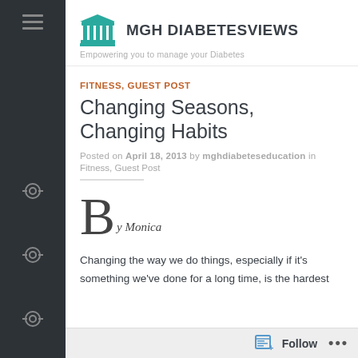MGH DIABETESVIEWS — Empowering you to manage your Diabetes
FITNESS, GUEST POST
Changing Seasons, Changing Habits
Posted on April 18, 2013 by mghdiabeteseducation in
Fitness, Guest Post
By Monica
Changing the way we do things, especially if it's something we've done for a long time, is the hardest